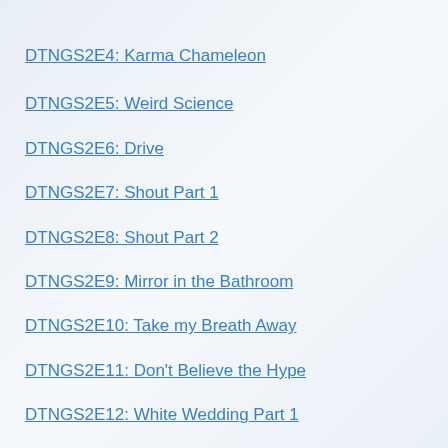DTNGS2E4: Karma Chameleon
DTNGS2E5: Weird Science
DTNGS2E6: Drive
DTNGS2E7: Shout Part 1
DTNGS2E8: Shout Part 2
DTNGS2E9: Mirror in the Bathroom
DTNGS2E10: Take my Breath Away
DTNGS2E11: Don't Believe the Hype
DTNGS2E12: White Wedding Part 1